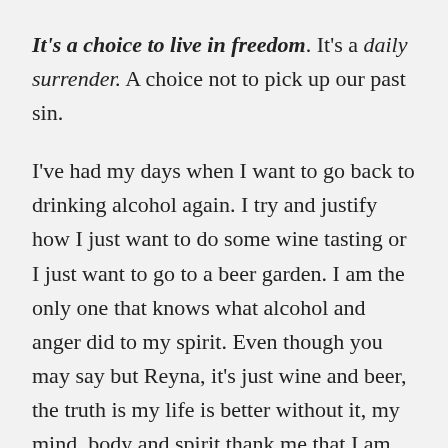It's a choice to live in freedom. It's a daily surrender. A choice not to pick up our past sin.

I've had my days when I want to go back to drinking alcohol again. I try and justify how I just want to do some wine tasting or I just want to go to a beer garden. I am the only one that knows what alcohol and anger did to my spirit. Even though you may say but Reyna, it's just wine and beer, the truth is my life is better without it, my mind, body and spirit thank me that I am no longer bounded by the spirit of addiction and anger. I am set free! ✨ In 15 days I celebrate 1year free from alcohol. As I come to my 1yr mark I've been having temptations to drink again. Isn't that funny how